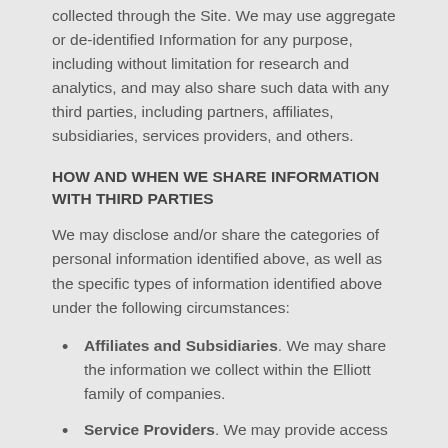collected through the Site. We may use aggregate or de-identified Information for any purpose, including without limitation for research and analytics, and may also share such data with any third parties, including partners, affiliates, subsidiaries, services providers, and others.
HOW AND WHEN WE SHARE INFORMATION WITH THIRD PARTIES
We may disclose and/or share the categories of personal information identified above, as well as the specific types of information identified above under the following circumstances:
Affiliates and Subsidiaries. We may share the information we collect within the Elliott family of companies.
Service Providers. We may provide access to or share your information with select entities